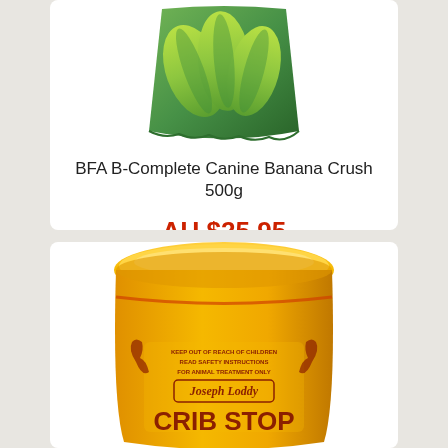[Figure (photo): Green banana-themed product bag for BFA B-Complete Canine Banana Crush 500g, showing bananas on the packaging]
BFA B-Complete Canine Banana Crush 500g
AU $25.95
[Figure (photo): Yellow plastic tub of Joseph Loddy Crib Stop product with horse graphics and text: KEEP OUT OF REACH OF CHILDREN, READ SAFETY INSTRUCTIONS, FOR ANIMAL TREATMENT ONLY]